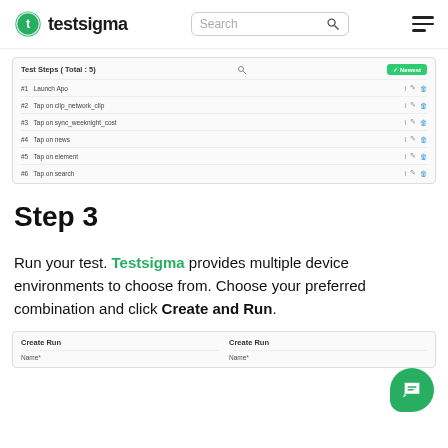testsigma | Search | Menu
[Figure (screenshot): A screenshot of the Testsigma test steps panel showing Test Steps (Total: 5) with a search icon and a green 'Newest' button. Rows list: #1 Launch Apo, #2 Tap on clip_network_clip, #3 Tap on sync_weeknight_cost, #4 Tap on news, #5 Tap on element, #6 Tap on search. Each row has icons for details, edit, and delete.]
Step 3
Run your test. Testsigma provides multiple device environments to choose from. Choose your preferred combination and click Create and Run.
[Figure (screenshot): Two side-by-side 'Create Run' dialog panels, each showing a Name field at the top.]